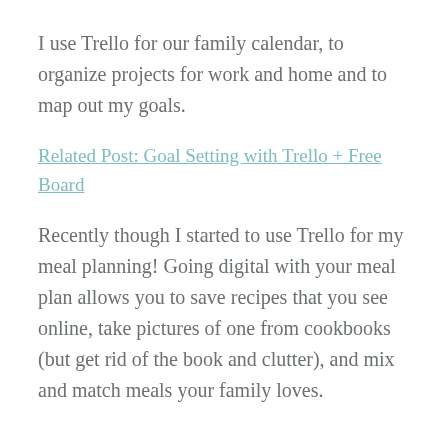I use Trello for our family calendar, to organize projects for work and home and to map out my goals.
Related Post: Goal Setting with Trello + Free Board
Recently though I started to use Trello for my meal planning! Going digital with your meal plan allows you to save recipes that you see online, take pictures of one from cookbooks (but get rid of the book and clutter), and mix and match meals your family loves.